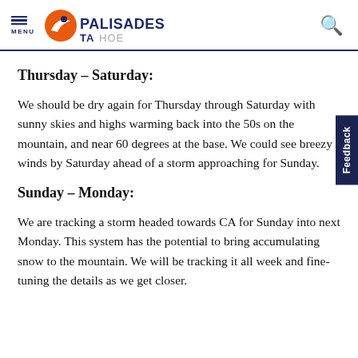MENU | PALISADES TAHOE
Thursday – Saturday:
We should be dry again for Thursday through Saturday with sunny skies and highs warming back into the 50s on the mountain, and near 60 degrees at the base. We could see breezy winds by Saturday ahead of a storm approaching for Sunday.
Sunday – Monday:
We are tracking a storm headed towards CA for Sunday into next Monday. This system has the potential to bring accumulating snow to the mountain. We will be tracking it all week and fine-tuning the details as we get closer.